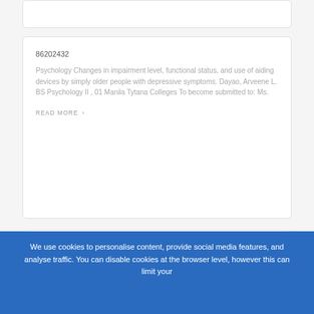86202432
Psychology Changes in impairment level, functional status, and use of aiding devices by simply older people with depressive symptoms. Dayao, Arveene L. BS Psychology II , 01 Manila Tytana Colleges To become submitted to: Ms.
READ MORE ›
Category: Article examples,
Topic: This individual,
Words:
We use cookies to personalise content, provide social media features, and analyse traffic. You can disable cookies at the browser level, however this can limit your